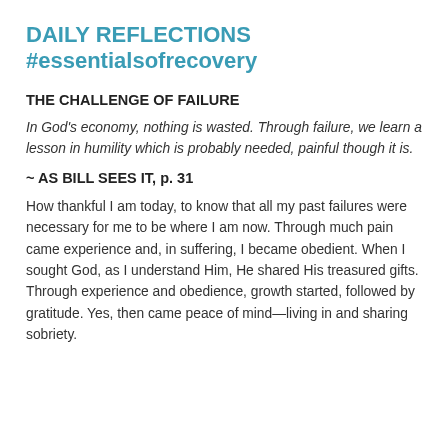DAILY REFLECTIONS
#essentialsofrecovery
THE CHALLENGE OF FAILURE
In God's economy, nothing is wasted. Through failure, we learn a lesson in humility which is probably needed, painful though it is.
~ AS BILL SEES IT, p. 31
How thankful I am today, to know that all my past failures were necessary for me to be where I am now. Through much pain came experience and, in suffering, I became obedient. When I sought God, as I understand Him, He shared His treasured gifts. Through experience and obedience, growth started, followed by gratitude. Yes, then came peace of mind—living in and sharing sobriety.